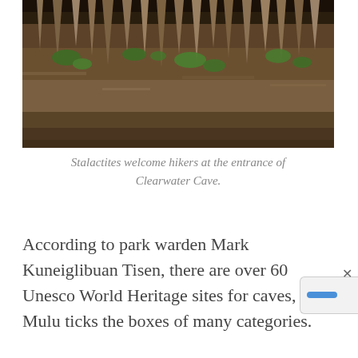[Figure (photo): Photograph of stalactites hanging from the ceiling/entrance of Clearwater Cave, with green moss visible on the rock formations. The image shows limestone cave entrance with multiple pointed stalactites against a rocky backdrop.]
Stalactites welcome hikers at the entrance of Clearwater Cave.
According to park warden Mark Kuneiglibuan Tisen, there are over 60 Unesco World Heritage sites for caves, but Mulu ticks the boxes of many categories.
“The caves in Mulu are, collectively, an